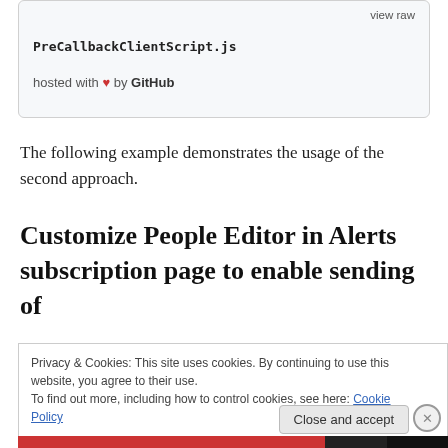[Figure (screenshot): GitHub Gist embed box showing 'view raw' link, filename 'PreCallbackClientScript.js', and 'hosted with heart by GitHub']
The following example demonstrates the usage of the second approach.
Customize People Editor in Alerts subscription page to enable sending of
[Figure (screenshot): Cookie consent banner: 'Privacy & Cookies: This site uses cookies. By continuing to use this website, you agree to their use. To find out more, including how to control cookies, see here: Cookie Policy' with 'Close and accept' button]